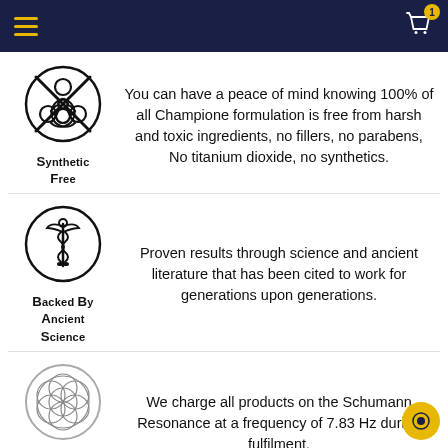Navigation header with hamburger menu and cart icon with badge 1
[Figure (illustration): Biohazard symbol inside a circle with an X through it — Synthetic Free icon]
Synthetic Free
You can have a peace of mind knowing 100% of all Champione formulation is free from harsh and toxic ingredients, no fillers, no parabens, No titanium dioxide, no synthetics.
[Figure (illustration): Caduceus (medical staff with wings) inside a circle — Backed By Ancient Science icon]
Backed By Ancient Science
Proven results through science and ancient literature that has been cited to work for generations upon generations.
[Figure (illustration): Flower of Life sacred geometry pattern inside a circle — Natural Frequency icon]
Natural Frequency
We charge all products on the Schumann Resonance at a frequency of 7.83 Hz during fulfilment.